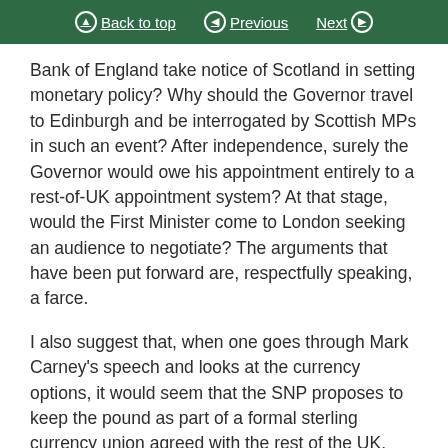Back to top | Previous | Next
Bank of England take notice of Scotland in setting monetary policy? Why should the Governor travel to Edinburgh and be interrogated by Scottish MPs in such an event? After independence, surely the Governor would owe his appointment entirely to a rest-of-UK appointment system? At that stage, would the First Minister come to London seeking an audience to negotiate? The arguments that have been put forward are, respectfully speaking, a farce.
I also suggest that, when one goes through Mark Carney's speech and looks at the currency options, it would seem that the SNP proposes to keep the pound as part of a formal sterling currency union agreed with the rest of the UK. However, the SNP seems not to have contemplated the fact that that